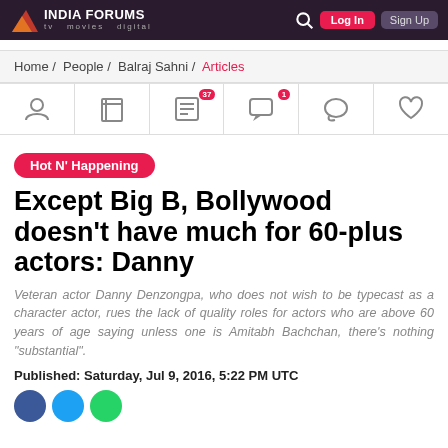India Forums — tv movies digital — Log In — Sign Up
Home / People / Balraj Sahni / Articles
[Figure (screenshot): Icon toolbar with six icons: profile, book, 37 articles, 1 comment, chat bubble, heart/favourite]
Hot N' Happening
Except Big B, Bollywood doesn't have much for 60-plus actors: Danny
Veteran actor Danny Denzongpa, who does not wish to be typecast as a character actor, rues the lack of quality roles for actors who are above 60 years of age saying unless one is Amitabh Bachchan, there's nothing "substantial".
Published: Saturday, Jul 9, 2016, 5:22 PM UTC